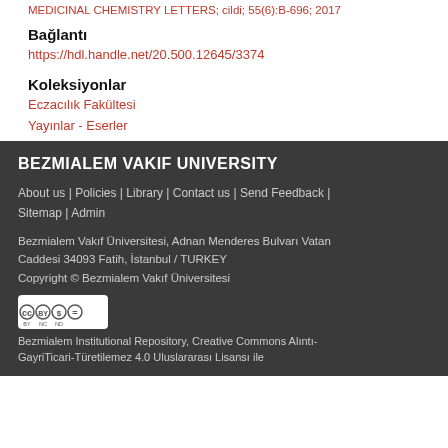MEDICINAL CHEMISTRY LETTERS; cildi; 55(6):B-696; 2017
Bağlantı
https://hdl.handle.net/20.500.12645/3374
Koleksiyonlar
Eczacılık Fakültesi
Yayınlar - Eserler
BEZMIALEM VAKIF UNIVERSITY
About us | Policies | Library | Contact us | Send Feedback | Sitemap | Admin
Bezmialem Vakıf Üniversitesi, Adnan Menderes Bulvarı Vatan Caddesi 34093 Fatih, İstanbul / TURKEY
Copyright © Bezmialem Vakıf Üniversitesi
Bezmialem Institutional Repository, Creative Commons Alıntı-GayriTicari-Türetilemez 4.0 Uluslararası Lisansı ile